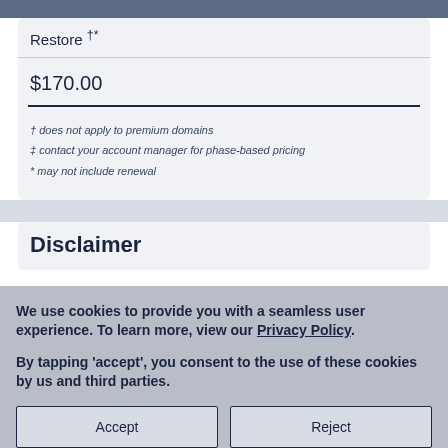| Restore †* |
| $170.00 |
† does not apply to premium domains
‡ contact your account manager for phase-based pricing
* may not include renewal
Disclaimer
We use cookies to provide you with a seamless user experience. To learn more, view our Privacy Policy.
By tapping 'accept', you consent to the use of these cookies by us and third parties.